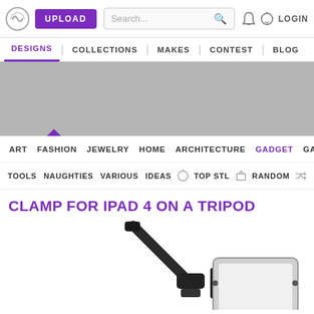UPLOAD | Search... | LOGIN
DESIGNS | COLLECTIONS | MAKES | CONTEST | BLOG
[Figure (screenshot): Gray banner advertisement area with a small purple upward triangle indicator below the DESIGNS tab]
ART FASHION JEWELRY HOME ARCHITECTURE GADGET GAME
TOOLS NAUGHTIES VARIOUS IDEAS TOP STL RANDOM
CLAMP FOR IPAD 4 ON A TRIPOD
[Figure (photo): Photo of an iPad 4 mounted on a tripod using a clamp accessory, showing the tablet held horizontally by a black mechanical clamp arm attached to a tripod head]